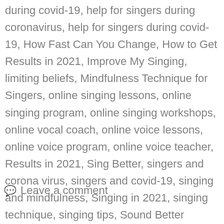during covid-19, help for singers during coronavirus, help for singers during covid-19, How Fast Can You Change, How to Get Results in 2021, Improve My Singing, limiting beliefs, Mindfulness Technique for Singers, online singing lessons, online singing program, online singing workshops, online vocal coach, online voice lessons, online voice program, online voice teacher, Results in 2021, Sing Better, singers and corona virus, singers and covid-19, singing and mindfulness, Singing in 2021, singing technique, singing tips, Sound Better Singing, Start the year off strong, Success During Covid, Take My Singing To The Next Level, While Singing
💬 Leave a comment